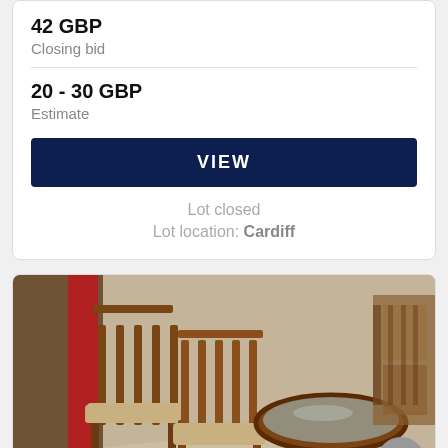42 GBP
Closing bid
20 - 30 GBP
Estimate
VIEW
Lot closed
Lot location: Cardiff
[Figure (photo): Photo of two wooden dining chairs with beige cushioned seats and a glass-topped oval coffee table with dark wood frame, in an auction warehouse setting with other furniture visible in the background.]
Lot 55